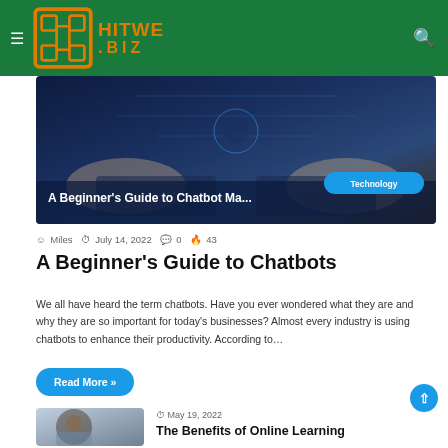HITWE.BIZ
[Figure (photo): Hands typing on keyboard with digital/AI overlay, article hero image for A Beginner's Guide to Chatbot Marketing]
A Beginner's Guide to Chatbot Ma...
Technology
Miles  July 14, 2022  0  43
A Beginner's Guide to Chatbots
We all have heard the term chatbots. Have you ever wondered what they are and why they are so important for today's businesses? Almost every industry is using chatbots to enhance their productivity. According to…
Read More »
[Figure (photo): Man wearing glasses working at a computer, thumbnail for The Benefits of Online Learning article]
May 19, 2022
The Benefits of Online Learning